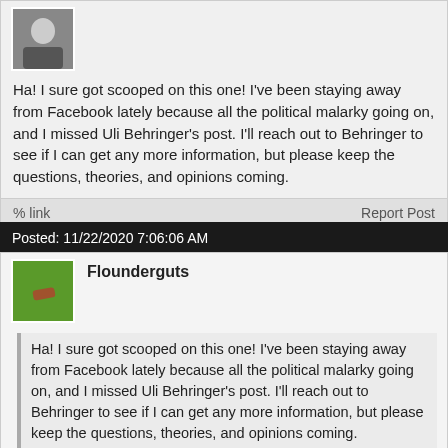[Figure (illustration): User avatar thumbnail showing a person in dark clothes]
Ha! I sure got scooped on this one! I've been staying away from Facebook lately because all the political malarky going on, and I missed Uli Behringer's post. I'll reach out to Behringer to see if I can get any more information, but please keep the questions, theories, and opinions coming.
link   Report Post
Posted: 11/22/2020 7:06:06 AM
Flounderguts
[Figure (photo): User avatar thumbnail showing a green background with a finger]
Ha! I sure got scooped on this one! I've been staying away from Facebook lately because all the political malarky going on, and I missed Uli Behringer's post. I'll reach out to Behringer to see if I can get any more information, but please keep the questions, theories, and opinions coming.